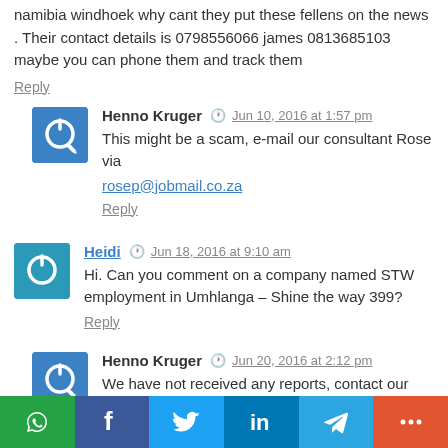namibia windhoek why cant they put these fellens on the news . Their contact details is 0798556066 james 0813685103 maybe you can phone them and track them
Reply
Henno Kruger  Jun 10, 2016 at 1:57 pm
This might be a scam, e-mail our consultant Rose via rosep@jobmail.co.za
Reply
Heidi  Jun 18, 2016 at 9:10 am
Hi. Can you comment on a company named STW employment in Umhlanga – Shine the way 399?
Reply
Henno Kruger  Jun 20, 2016 at 2:12 pm
We have not received any reports, contact our consultant